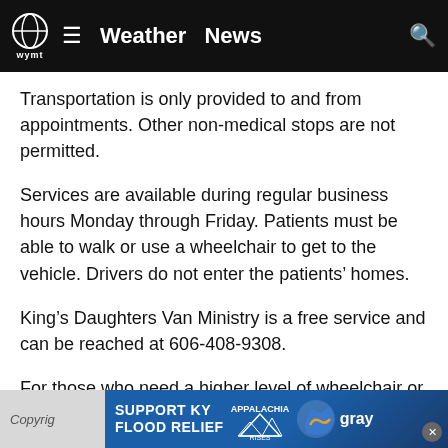Weather  News
Transportation is only provided to and from appointments. Other non-medical stops are not permitted.
Services are available during regular business hours Monday through Friday. Patients must be able to walk or use a wheelchair to get to the vehicle. Drivers do not enter the patients' homes.
King's Daughters Van Ministry is a free service and can be reached at 606-408-9308.
For those who need a higher level of wheelchair or cot transport, King's Daughters Medical Transport can be reached at 606-408-2900.
Copyright  SUPPORT KY FLOOD RELIEF  APPALACHIA RISES  gray